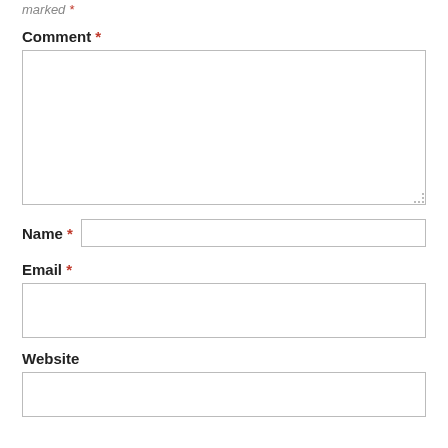marked *
Comment *
Name *
Email *
Website